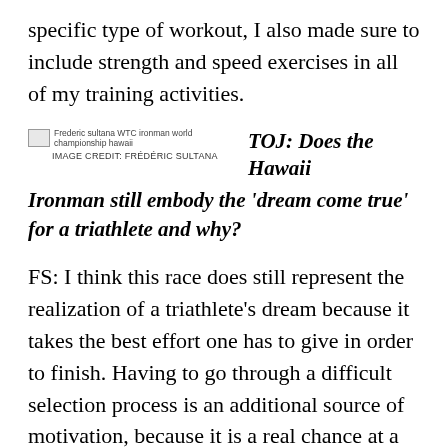specific type of workout, I also made sure to include strength and speed exercises in all of my training activities.
[Figure (photo): Frederic sultana WTC ironman world championship hawaii. Image credit: FRÉDÉRIC SULTANA]
TOJ: Does the Hawaii Ironman still embody the ‘dream come true’ for a triathlete and why?
FS: I think this race does still represent the realization of a triathlete’s dream because it takes the best effort one has to give in order to finish. Having to go through a difficult selection process is an additional source of motivation, because it is a real chance at a